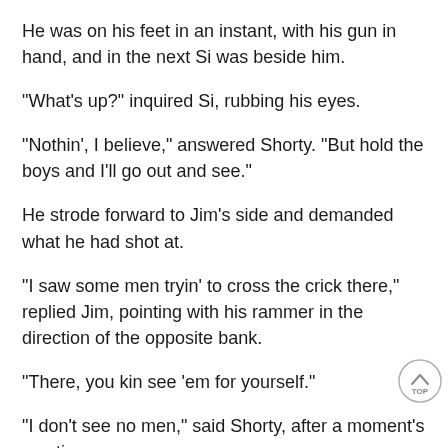He was on his feet in an instant, with his gun in hand, and in the next Si was beside him.
"What's up?" inquired Si, rubbing his eyes.
"Nothin', I believe," answered Shorty. "But hold the boys and I'll go out and see."
He strode forward to Jim's side and demanded what he had shot at.
"I saw some men tryin' to cross the crick there," replied Jim, pointing with his rammer in the direction of the opposite bank.
"There, you kin see 'em for yourself."
"I don't see no men," said Shorty, after a moment's scruti
"There they are. Don't you see that white there?" said Jim, capping his musket for another shot.